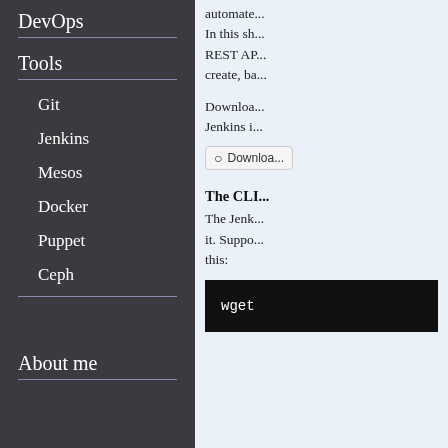DevOps
Tools
Git
Jenkins
Mesos
Docker
Puppet
Ceph
About me
automate... In this sh... REST AP... create, ba...
Downloa... Jenkins i...
[Figure (screenshot): GitHub Download button]
The CLI...
The Jenk... it. Suppo... this:
[Figure (screenshot): Code block showing: wget]